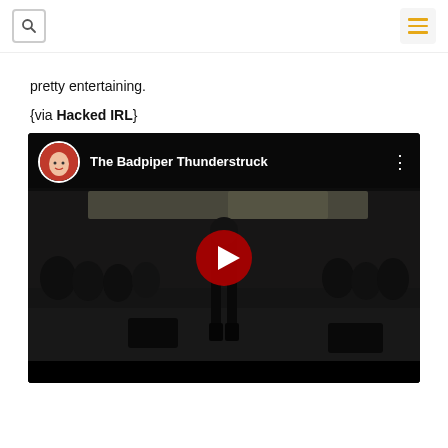[Search icon] [Menu icon]
pretty entertaining.
{via Hacked IRL}
[Figure (screenshot): YouTube video thumbnail showing 'The Badpiper Thunderstruck' with a bagpipe performer on a cobblestone square surrounded by a crowd. A circular channel avatar (woman with red hair) appears in the top-left. A large red YouTube play button is centered on the dark video frame.]